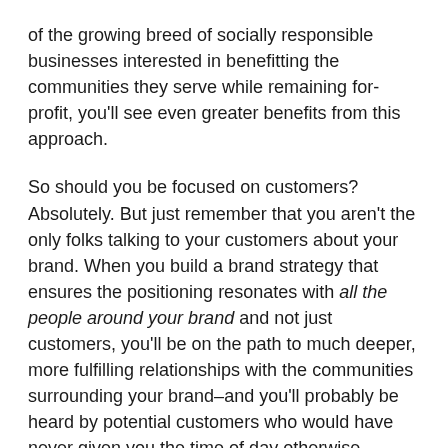of the growing breed of socially responsible businesses interested in benefitting the communities they serve while remaining for-profit, you'll see even greater benefits from this approach.
So should you be focused on customers? Absolutely. But just remember that you aren't the only folks talking to your customers about your brand. When you build a brand strategy that ensures the positioning resonates with all the people around your brand and not just customers, you'll be on the path to much deeper, more fulfilling relationships with the communities surrounding your brand–and you'll probably be heard by potential customers who would have never given you the time of day otherwise.
—